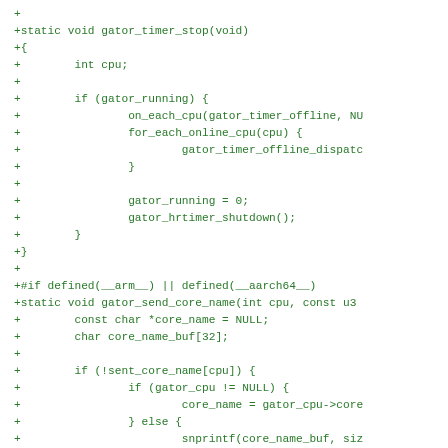[Figure (other): Source code diff showing C functions gator_timer_stop and gator_send_core_name with green diff markers]